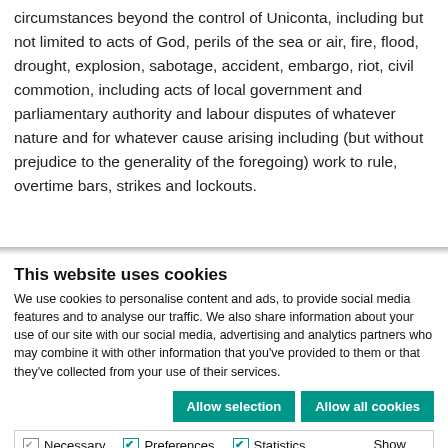circumstances beyond the control of Uniconta, including but not limited to acts of God, perils of the sea or air, fire, flood, drought, explosion, sabotage, accident, embargo, riot, civil commotion, including acts of local government and parliamentary authority and labour disputes of whatever nature and for whatever cause arising including (but without prejudice to the generality of the foregoing) work to rule, overtime bars, strikes and lockouts.
This website uses cookies
We use cookies to personalise content and ads, to provide social media features and to analyse our traffic. We also share information about your use of our site with our social media, advertising and analytics partners who may combine it with other information that you've provided to them or that they've collected from your use of their services.